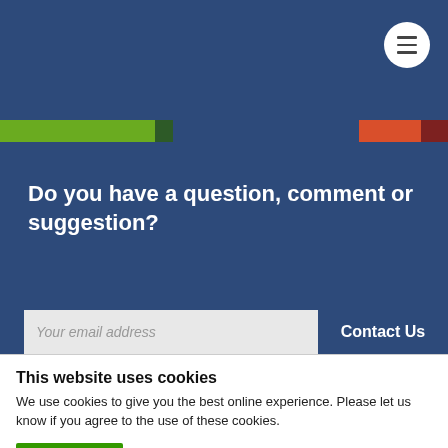Navigation header bar with hamburger menu
[Figure (other): Horizontal color bar stripe: green, dark green, dark blue, orange-red, dark red]
Do you have a question, comment or suggestion?
Your email address
Contact Us
This website uses cookies
We use cookies to give you the best online experience. Please let us know if you agree to the use of these cookies.
OK
No, take me to Settings